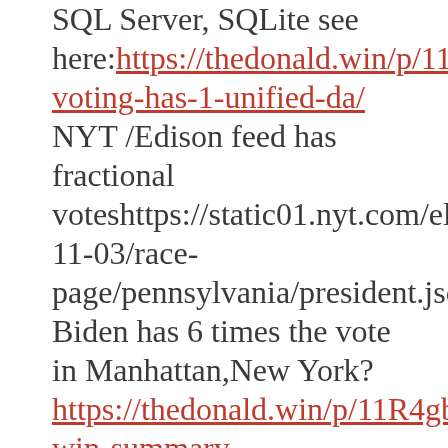SQL Server, SQLite see here:https://thedonald.win/p/11R4gak8zz/dominion-voting-has-1-unified-da/ NYT /Edison feed has fractional voteshttps://static01.nyt.com/electionassets/2020/data/api/2020-11-03/race-page/pennsylvania/president.json Biden has 6 times the vote in Manhattan,New York? https://thedonald.win/p/11R4gbrA4f/biden-win-summary-